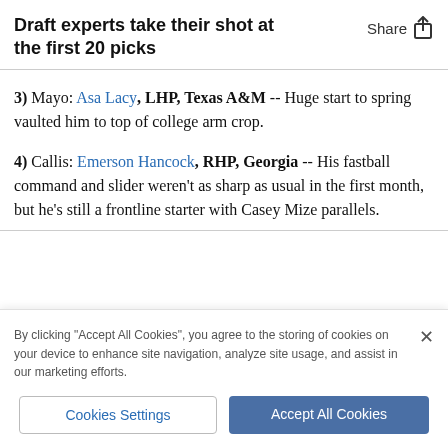Draft experts take their shot at the first 20 picks
3) Mayo: Asa Lacy, LHP, Texas A&M -- Huge start to spring vaulted him to top of college arm crop.
4) Callis: Emerson Hancock, RHP, Georgia -- His fastball command and slider weren't as sharp as usual in the first month, but he's still a frontline starter with Casey Mize parallels.
By clicking "Accept All Cookies", you agree to the storing of cookies on your device to enhance site navigation, analyze site usage, and assist in our marketing efforts.
Cookies Settings | Accept All Cookies